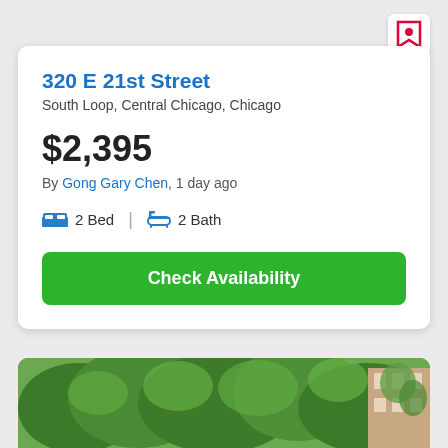320 E 21st Street
South Loop, Central Chicago, Chicago
$2,395
By Gong Gary Chen, 1 day ago
2 Bed  |  2 Bath
Check Availability
[Figure (photo): Trees and building exterior photo at bottom of page]